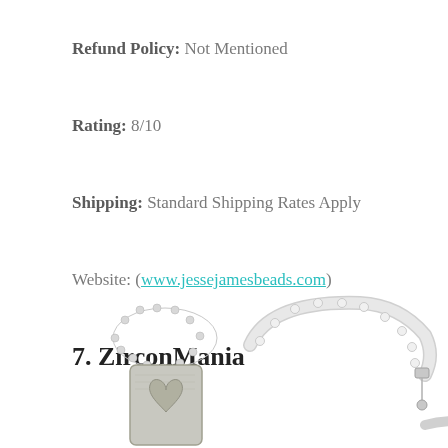Refund Policy: Not Mentioned
Rating: 8/10
Shipping: Standard Shipping Rates Apply
Website: (www.jessejamesbeads.com)
7. ZirconMania
[Figure (photo): Two jewelry items: a silver beaded ring/bracelet on the left and a diamond tennis bracelet on the right, partially cropped at the bottom of the page.]